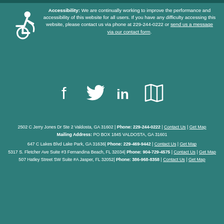Accessibility: We are continually working to improve the performance and accessibility of this website for all users. If you have any difficulty accessing this website, please contact us via phone at 229-244-0222 or send us a message via our contact form.
[Figure (infographic): Social media icons: Facebook, Twitter, LinkedIn, and a map/location icon in white on teal background]
2502 C Jerry Jones Dr Ste 2 Valdosta, GA 31602 | Phone: 229-244-0222 | Contact Us | Get Map
Mailing Address: PO BOX 1845 VALDOSTA, GA 31601
647 C Lakes Blvd Lake Park, GA 31636| Phone: 229-469-9442 | Contact Us | Get Map
5317 S. Fletcher Ave Suite #3 Fernandina Beach, FL 32034| Phone: 904-729-4575 | Contact Us | Get Map
507 Hatley Street SW Suite #A Jasper, FL 32052| Phone: 386-968-8358 | Contact Us | Get Map